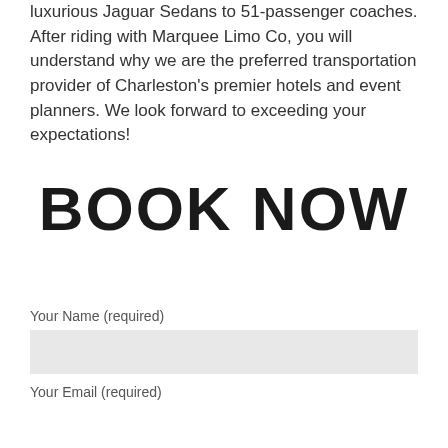luxurious Jaguar Sedans to 51-passenger coaches. After riding with Marquee Limo Co, you will understand why we are the preferred transportation provider of Charleston's premier hotels and event planners. We look forward to exceeding your expectations!
BOOK NOW
Your Name (required)
Your Email (required)